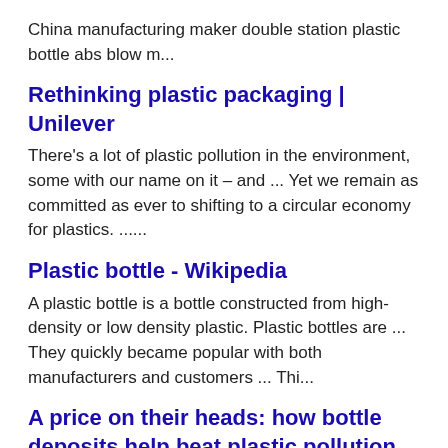China manufacturing maker double station plastic bottle abs blow m...
Rethinking plastic packaging | Unilever
There's a lot of plastic pollution in the environment, some with our name on it – and ... Yet we remain as committed as ever to shifting to a circular economy for plastics. ......
Plastic bottle - Wikipedia
A plastic bottle is a bottle constructed from high-density or low density plastic. Plastic bottles are ... They quickly became popular with both manufacturers and customers ... Thi...
A price on their heads: how bottle deposits help beat plastic pollution
Nov 17, 2017 ... Cheap, light and mould-able into myriad shapes, plastic bottles have conquered ... As the economic